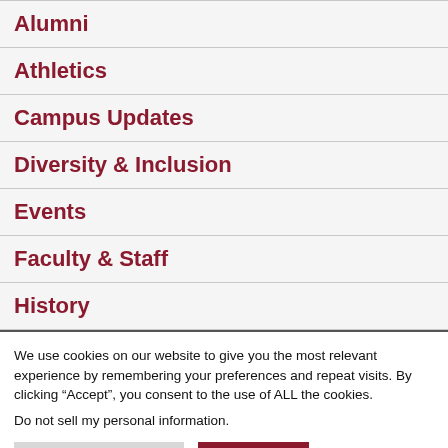Alumni
Athletics
Campus Updates
Diversity & Inclusion
Events
Faculty & Staff
History
We use cookies on our website to give you the most relevant experience by remembering your preferences and repeat visits. By clicking “Accept”, you consent to the use of ALL the cookies.
Do not sell my personal information.